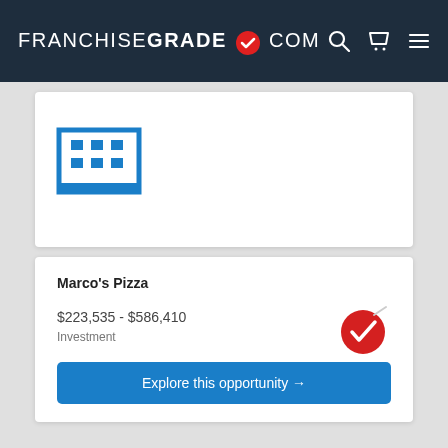FRANCHISEGRADE.COM
[Figure (illustration): Building/office icon in blue, representing a franchise listing placeholder image]
Marco's Pizza
$223,535 - $586,410 Investment
[Figure (illustration): Red checkmark badge/seal icon indicating franchise grade verification]
Explore this opportunity →
[Figure (illustration): Blue partial icon at bottom of page, another franchise listing card]